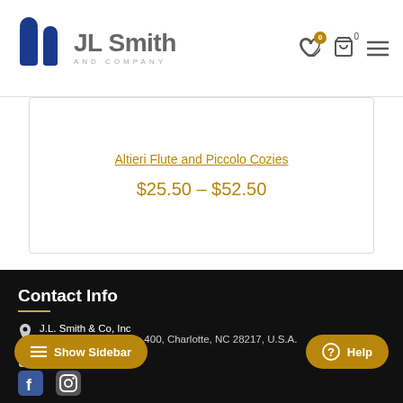[Figure (logo): JL Smith and Company logo with blue pillar icon and gray text]
Altieri Flute and Piccolo Cozies
$25.50 – $52.50
Contact Info
J.L. Smith & Co, Inc
901 Blairhill Rd., Suite 400, Charlotte, NC 28217, U.S.A.
704.521.1088
Show Sidebar
Help